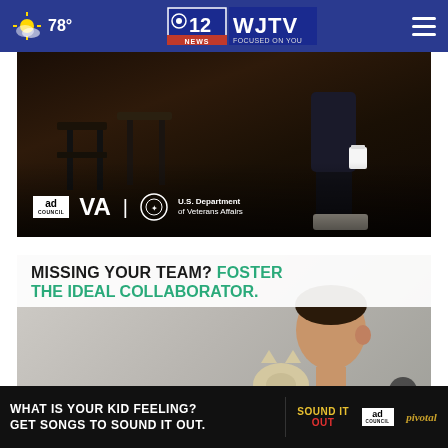78° WJTV 12 News Focused on You
[Figure (photo): Ad Council and U.S. Department of Veterans Affairs advertisement showing a person's legs sitting in a chair holding a cup]
[Figure (photo): Foster pet advertisement: 'Missing Your Team? Foster The Ideal Collaborator.' showing a man with a cat]
[Figure (photo): Bottom banner ad: 'What is your kid feeling? Get songs to sound it out.' with Sound It Out, Ad Council, and Pivotal logos on black background]